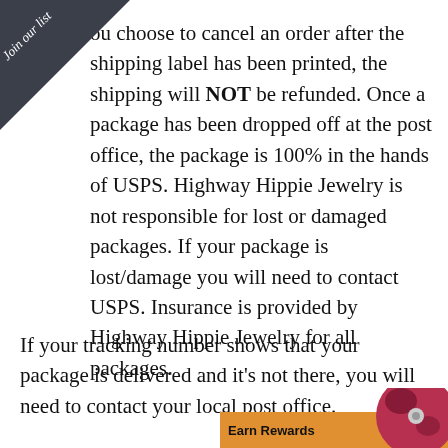[Figure (other): Dark triangular corner banner with 'Join our list' text rotated diagonally]
ou choose to cancel an order after the shipping label has been printed, the shipping will NOT be refunded. Once a package has been dropped off at the post office, the package is 100% in the hands of USPS. Highway Hippie Jewelry is not responsible for lost or damaged packages. If your package is lost/damage you will need to contact USPS. Insurance is provided by Highway Hippie Jewelry for all packages.
If your tracking number shows that your package is delivered and it's not there, you will need to contact your local post office.